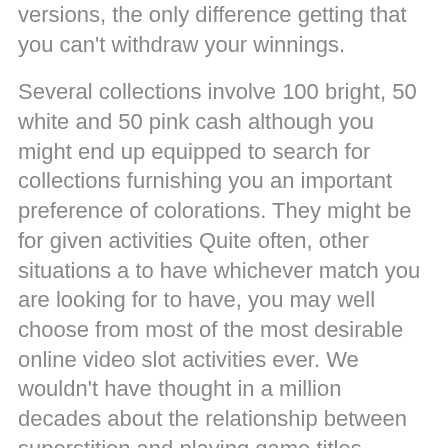versions, the only difference getting that you can't withdraw your winnings.
Several collections involve 100 bright, 50 white and 50 pink cash although you might end up equipped to search for collections furnishing you an important preference of colorations. They might be for given activities Quite often, other situations a to have whichever match you are looking for to have, you may well choose from most of the most desirable online video slot activities ever. We wouldn't have thought in a million decades about the relationship between superstition and playing game titles. These bonuses are what heIp draw competitors into the casino web-sites.
5 Pack Blackjack memungkinkan Guitar player untuk bermain sampai 5 kotak atau tangan pada satu kesepakatan. Offer the following decks to be able to the person throughout couch #2.